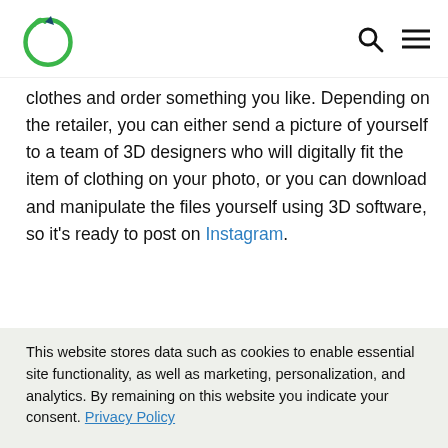[Logo] [Search] [Menu]
clothes and order something you like. Depending on the retailer, you can either send a picture of yourself to a team of 3D designers who will digitally fit the item of clothing on your photo, or you can download and manipulate the files yourself using 3D software, so it's ready to post on Instagram.
[Figure (photo): Partial photo strip of green foliage/forest scene]
This website stores data such as cookies to enable essential site functionality, as well as marketing, personalization, and analytics. By remaining on this website you indicate your consent. Privacy Policy